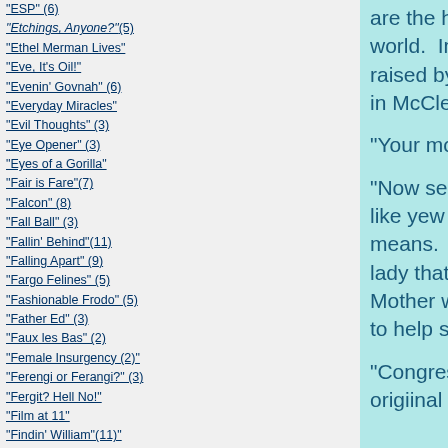"ESP" (6)
"Etchings, Anyone?"(5)
"Ethel Merman Lives"
"Eve, It's Oil!"
"Evenin' Govnah" (6)
"Everyday Miracles"
"Evil Thoughts" (3)
"Eye Opener" (3)
"Eyes of a Gorilla"
"Fair is Fare"(7)
"Falcon" (8)
"Fall Ball" (3)
"Fallin' Behind"(11)
"Falling Apart" (9)
"Fargo Felines" (5)
"Fashionable Frodo" (5)
"Father Ed" (3)
"Faux les Bas" (2)
"Female Insurgency (2)"
"Ferengi or Ferangi?" (3)
"Fergit? Hell No!"
"Film at 11"
"Findin' William"(11)"
"Firing US Attorneys" (3)
"First Freeze" (6)
"First Learn to Lose"
"First National Bank" (5)
"First Sentence" (8)
are the happiest Nigras in the whole world.  In fact, my Mammy had me raised by a Nigra lady right over there in McClellanville."
"Your mother was African-American?"
"Now see, there ya go again.  Talkin' like yew ackshally know what people means.  My "Mammy" was an ole Nigra lady that wet-nursed me while my Mother was workin' three jobs in order to help send me to college."
"Congressman, can we get back to my origiinal question?"